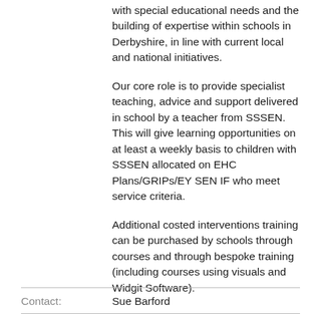with special educational needs and the building of expertise within schools in Derbyshire, in line with current local and national initiatives.
Our core role is to provide specialist teaching, advice and support delivered in school by a teacher from SSSEN. This will give learning opportunities on at least a weekly basis to children with SSSEN allocated on EHC Plans/GRIPs/EYSEN IF who meet service criteria.
Additional costed interventions training can be purchased by schools through courses and through bespoke training (including courses using visuals and Widgit Software).
| Contact: | Sue Barford |
| --- | --- |